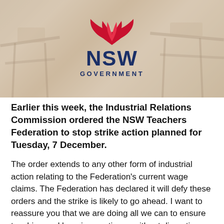[Figure (photo): Blurred classroom background image with empty school desks and chairs, with NSW Government logo (red lotus flower, dark blue NSW text, and GOVERNMENT text) centered over it.]
Earlier this week, the Industrial Relations Commission ordered the NSW Teachers Federation to stop strike action planned for Tuesday, 7 December.
The order extends to any other form of industrial action relating to the Federation's current wage claims. The Federation has declared it will defy these orders and the strike is likely to go ahead. I want to reassure you that we are doing all we can to ensure teaching and learning continues without disruption - especially given the difficulties and challenges students, parents and families have